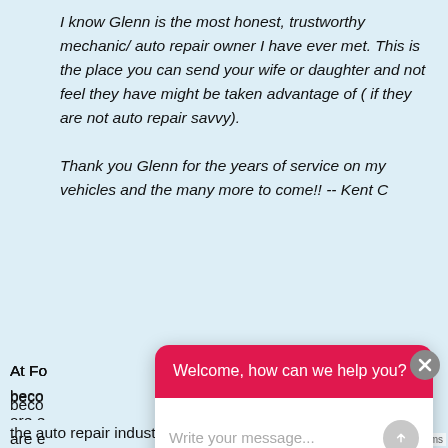I know Glenn is the most honest, trustworthy mechanic/ auto repair owner I have ever met. This is the place you can send your wife or daughter and not feel they have might be taken advantage of ( if they are not auto repair savvy).

Thank you Glenn for the years of service on my vehicles and the many more to come!! -- Kent C
At Fo... beco... are e... integ... cutti...
[Figure (screenshot): Chat popup widget with pink/red header saying 'Welcome, how can we help you?' and a white input area with placeholder text 'Write your message...' and a gray send button. A gray X close button is visible in the top-right corner.]
the auto repair industry. At Foothill Auto Service